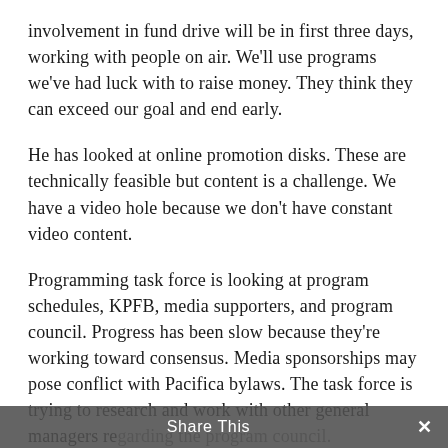involvement in fund drive will be in first three days, working with people on air. We'll use programs we've had luck with to raise money. They think they can exceed our goal and end early.
He has looked at online promotion disks. These are technically feasible but content is a challenge. We have a video hole because we don't have constant video content.
Programming task force is looking at program schedules, KPFB, media supporters, and program council. Progress has been slow because they're working toward consensus. Media sponsorships may pose conflict with Pacifica bylaws. The task force is trying to research and work with other general managers regarding the program council. We are open for more f...
Share This